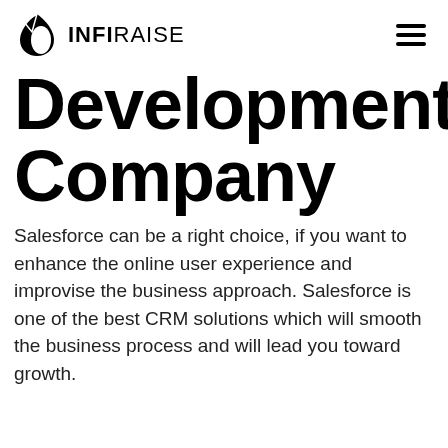INFIRAISE
Development Company
Salesforce can be a right choice, if you want to enhance the online user experience and improvise the business approach. Salesforce is one of the best CRM solutions which will smooth the business process and will lead you toward growth.